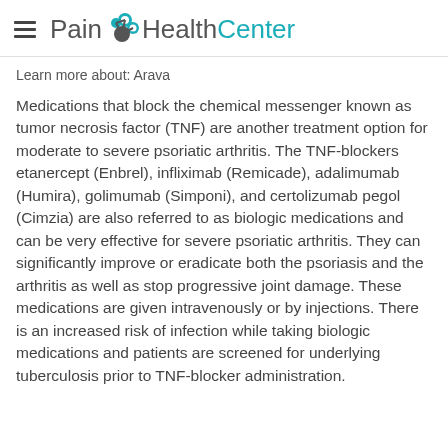Pain HealthCenter
Learn more about: Arava
Medications that block the chemical messenger known as tumor necrosis factor (TNF) are another treatment option for moderate to severe psoriatic arthritis. The TNF-blockers etanercept (Enbrel), infliximab (Remicade), adalimumab (Humira), golimumab (Simponi), and certolizumab pegol (Cimzia) are also referred to as biologic medications and can be very effective for severe psoriatic arthritis. They can significantly improve or eradicate both the psoriasis and the arthritis as well as stop progressive joint damage. These medications are given intravenously or by injections. There is an increased risk of infection while taking biologic medications and patients are screened for underlying tuberculosis prior to TNF-blocker administration.